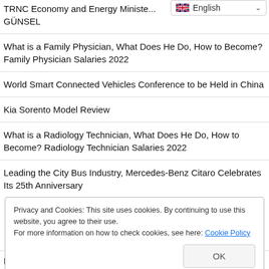TRNC Economy and Energy Minister GÜNSEL
What is a Family Physician, What Does He Do, How to Become? Family Physician Salaries 2022
World Smart Connected Vehicles Conference to be Held in China
Kia Sorento Model Review
What is a Radiology Technician, What Does He Do, How to Become? Radiology Technician Salaries 2022
Leading the City Bus Industry, Mercedes-Benz Citaro Celebrates Its 25th Anniversary
Privacy and Cookies: This site uses cookies. By continuing to use this website, you agree to their use.
For more information on how to check cookies, see here: Cookie Policy
Domestic Automobile TOGG Factory What Zamwill be opened